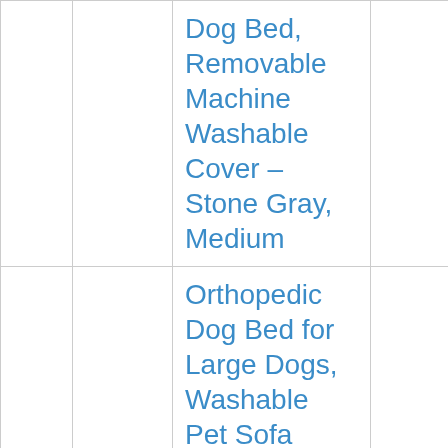|  |  | Dog Bed, Removable Machine Washable Cover – Stone Gray, Medium |  |
|  |  | Orthopedic Dog Bed for Large Dogs, Washable Pet Sofa |  |